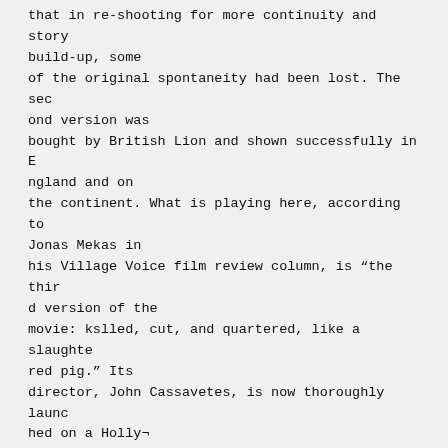that in re-shooting for more continuity and story build-up, some of the original spontaneity had been lost. The second version was bought by British Lion and shown successfully in England and on the continent. What is playing here, according to Jonas Mekas in his Village Voice film review column, is "the third version of the movie: kslled, cut, and quartered, like a slaughtered pig." Its director, John Cassavetes, is now thoroughly launched on a Holly¬ wood career with Paramount, and presumably will not want for other assignments.

Shadows, by the way, is the only evidence 1 have found of a "new American wave" in and around New York, The Connection will certainly be shown here after it has made its way in Europe.
Other than that, the feature films we read about i